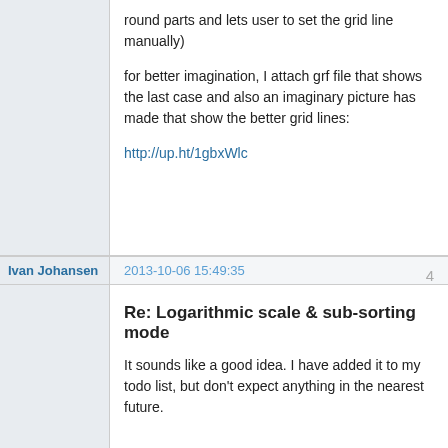round parts and lets user to set the grid line manually)
for better imagination, I attach grf file that shows the last case and also an imaginary picture has made that show the better grid lines:
http://up.ht/1gbxWlc
Ivan Johansen
2013-10-06 15:49:35
4
Re: Logarithmic scale & sub-sorting mode
It sounds like a good idea. I have added it to my todo list, but don't expect anything in the nearest future.